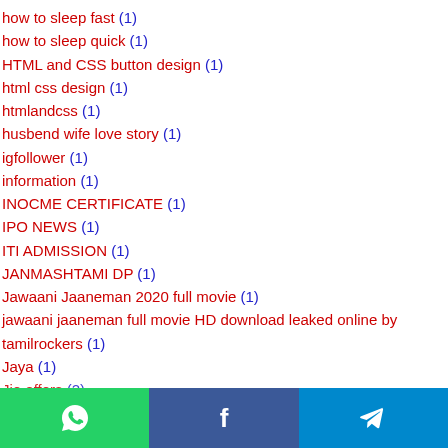how to sleep fast (1)
how to sleep quick (1)
HTML and CSS button design (1)
html css design (1)
htmlandcss (1)
husbend wife love story (1)
igfollower (1)
information (1)
INOCME CERTIFICATE (1)
IPO NEWS (1)
ITI ADMISSION (1)
JANMASHTAMI DP (1)
Jawaani Jaaneman 2020 full movie (1)
jawaani jaaneman full movie HD download leaked online by tamilrockers (1)
Jaya (1)
Jio offers (2)
WhatsApp | Facebook | Telegram